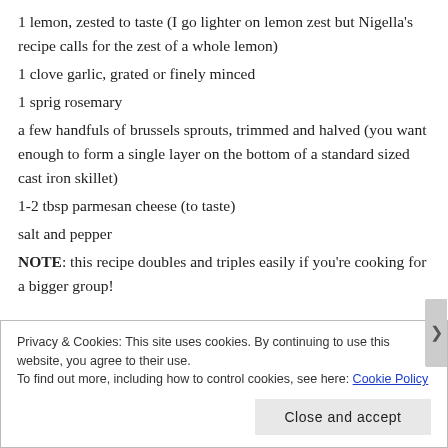1 lemon, zested to taste (I go lighter on lemon zest but Nigella's recipe calls for the zest of a whole lemon)
1 clove garlic, grated or finely minced
1 sprig rosemary
a few handfuls of brussels sprouts, trimmed and halved (you want enough to form a single layer on the bottom of a standard sized cast iron skillet)
1-2 tbsp parmesan cheese (to taste)
salt and pepper
NOTE: this recipe doubles and triples easily if you're cooking for a bigger group!
Privacy & Cookies: This site uses cookies. By continuing to use this website, you agree to their use. To find out more, including how to control cookies, see here: Cookie Policy